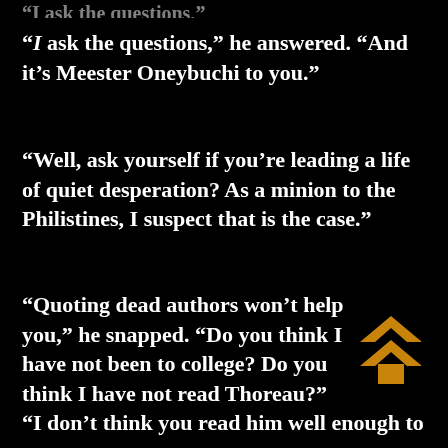“I ask the questions,” he answered. “And it’s Meester Oneybuchi to you.”
“Well, ask yourself if you’re leading a life of quiet desperation? As a minion to the Philistines, I suspect that is the case.”
“Quoting dead authors won’t help you,” he snapped. “Do you think I have not been to college? Do you think I have not read Thoreau?”
[Figure (illustration): Orange/gold double chevron up arrow icon]
“I don’t think you read him well enough to